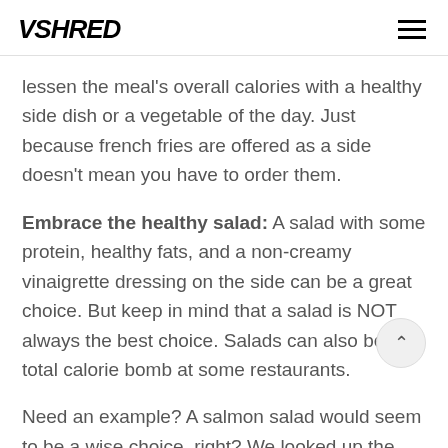VSHRED
lessen the meal's overall calories with a healthy side dish or a vegetable of the day. Just because french fries are offered as a side doesn't mean you have to order them.
Embrace the healthy salad: A salad with some protein, healthy fats, and a non-creamy vinaigrette dressing on the side can be a great choice. But keep in mind that a salad is NOT always the best choice. Salads can also be a total calorie bomb at some restaurants.
Need an example? A salmon salad would seem to be a wise choice, right? We looked up the nutrition facts